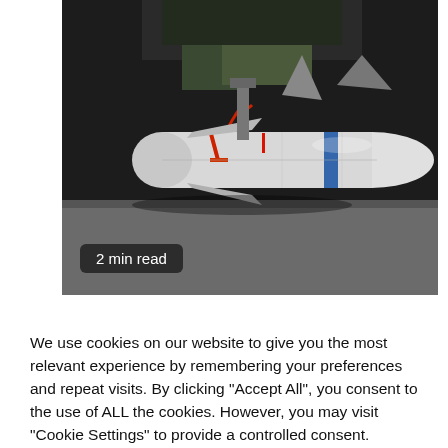[Figure (photo): Photograph of a missile (likely an air-to-air or air-to-ground missile) mounted under an aircraft, shown in a hangar or tarmac setting. The missile is white/silver with a blue stripe near the nose, with red safety tags. A green aircraft structure is visible above.]
2 min read
We use cookies on our website to give you the most relevant experience by remembering your preferences and repeat visits. By clicking "Accept All", you consent to the use of ALL the cookies. However, you may visit "Cookie Settings" to provide a controlled consent.